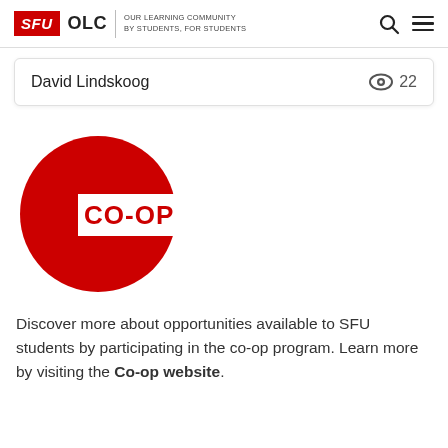SFU OLC | OUR LEARNING COMMUNITY BY STUDENTS, FOR STUDENTS
David Lindskoog  👁 22
[Figure (logo): SFU Co-op circular red logo with white CO-OP text on a red band cutting through the circle]
Discover more about opportunities available to SFU students by participating in the co-op program. Learn more by visiting the Co-op website.